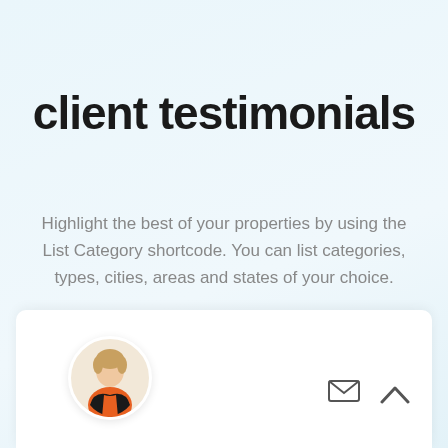client testimonials
Highlight the best of your properties by using the List Category shortcode. You can list categories, types, cities, areas and states of your choice.
[Figure (illustration): White card panel at bottom with a circular avatar showing a woman with blonde hair wearing an orange top, plus mail envelope icon and upward chevron arrow icon on the right side]